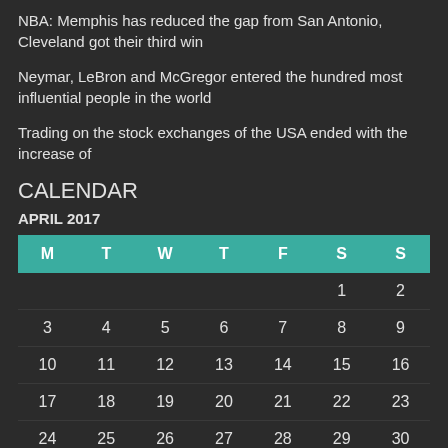NBA: Memphis has reduced the gap from San Antonio, Cleveland got their third win
Neymar, LeBron and McGregor entered the hundred most influential people in the world
Trading on the stock exchanges of the USA ended with the increase of
CALENDAR
APRIL 2017
| M | T | W | T | F | S | S |
| --- | --- | --- | --- | --- | --- | --- |
|  |  |  |  |  | 1 | 2 |
| 3 | 4 | 5 | 6 | 7 | 8 | 9 |
| 10 | 11 | 12 | 13 | 14 | 15 | 16 |
| 17 | 18 | 19 | 20 | 21 | 22 | 23 |
| 24 | 25 | 26 | 27 | 28 | 29 | 30 |